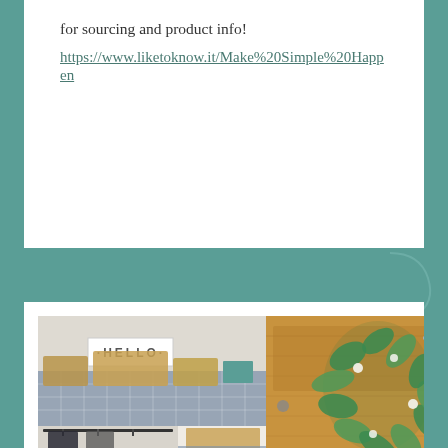for sourcing and product info!
https://www.liketoknow.it/Make%20Simple%20Happen
[Figure (photo): Interior photo of a mudroom/entryway closet organization with wicker baskets on shelves, blue and white patterned tile backsplash, a HELLO sign, hanging coats on a rod, and a eucalyptus wreath hanging on a wooden cabinet door on the right side.]